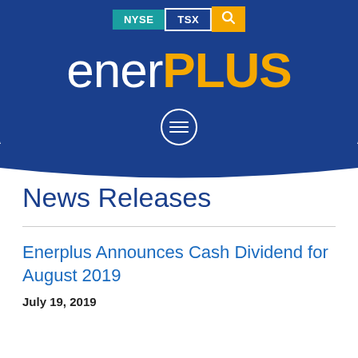[Figure (logo): Enerplus corporate website header with dark blue background. Top bar shows NYSE (teal), TSX (blue/white), and search (gold) badges. Large white 'ener' and gold 'PLUS' wordmark logo. Below logo is a circular menu icon with three horizontal lines.]
News Releases
Enerplus Announces Cash Dividend for August 2019
July 19, 2019